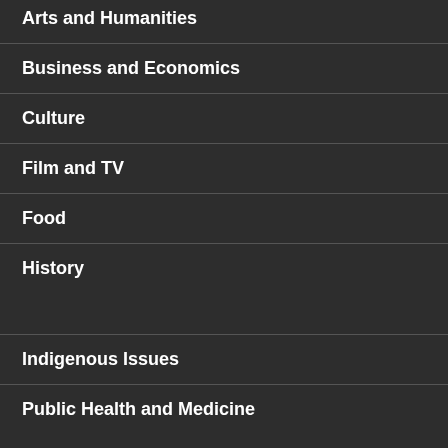Arts and Humanities
Business and Economics
Culture
Film and TV
Food
History
Indigenous Issues
Public Health and Medicine